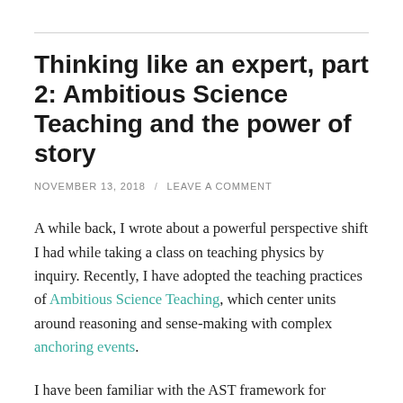Thinking like an expert, part 2: Ambitious Science Teaching and the power of story
NOVEMBER 13, 2018 / LEAVE A COMMENT
A while back, I wrote about a powerful perspective shift I had while taking a class on teaching physics by inquiry. Recently, I have adopted the teaching practices of Ambitious Science Teaching, which center units around reasoning and sense-making with complex anchoring events.
I have been familiar with the AST framework for several